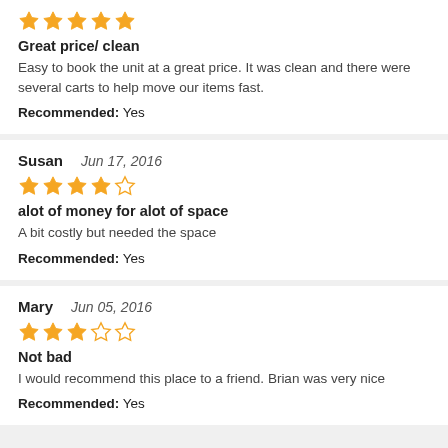★★★★★
Great price/ clean
Easy to book the unit at a great price. It was clean and there were several carts to help move our items fast.
Recommended: Yes
Susan  Jun 17, 2016
★★★★☆
alot of money for alot of space
A bit costly but needed the space
Recommended: Yes
Mary  Jun 05, 2016
★★★☆☆
Not bad
I would recommend this place to a friend. Brian was very nice
Recommended: Yes